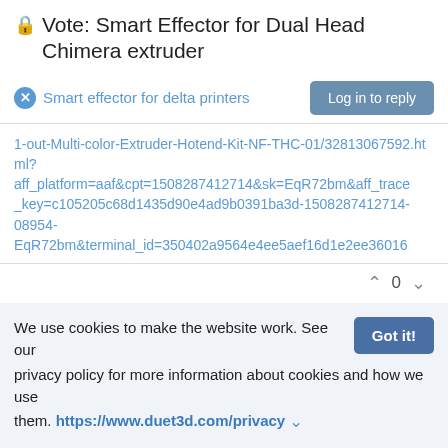🔒 Vote: Smart Effector for Dual Head Chimera extruder
Smart effector for delta printers
Log in to reply
1-out-Multi-color-Extruder-Hotend-Kit-NF-THC-01/32813067592.html?aff_platform=aaf&cpt=1508287412714&sk=EqR72bm&aff_trace_key=c105205c68d1435d90e4ad9b0391ba3d-1508287412714-08954-EqR72bm&terminal_id=350402a9564e4ee5aef16d1e2ee36016
0
idaho creator
18 Oct 2017, 01:07
I going to be building a Delta after I complete my D Bot. For my D bot, I am going to use a THC-01 which is a 3 in 1 out that uses Chimera heat breaks and V6 style heat block and nozzles.
We use cookies to make the website work. See our privacy policy for more information about cookies and how we use them. https://www.duet3d.com/privacy